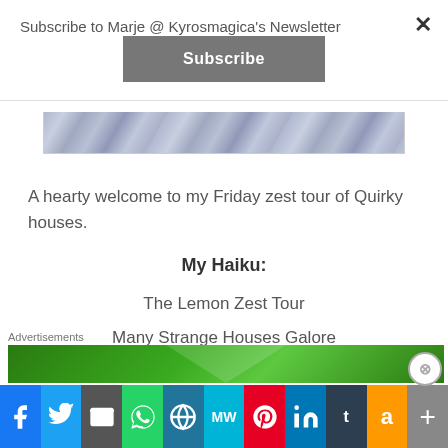Subscribe to Marje @ Kyrosmagica's Newsletter
Subscribe
[Figure (photo): Partial image of a building roof with gray/lavender tiles visible at the top of the content area]
A hearty welcome to my Friday zest tour of Quirky houses.
My Haiku:
The Lemon Zest Tour
Many Strange Houses Galore
Advertisements
[Figure (photo): Green advertisement banner at bottom of page]
[Figure (infographic): Social media sharing icons bar: Facebook, Twitter, Email, WhatsApp, WordPress, MeWe, Pinterest, LinkedIn, Tumblr, Amazon, Plus]